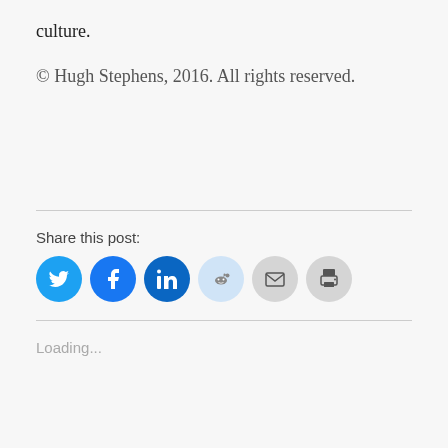culture.
© Hugh Stephens, 2016. All rights reserved.
Share this post:
[Figure (other): Social share icons: Twitter, Facebook, LinkedIn, Reddit, Email, Print]
Loading...